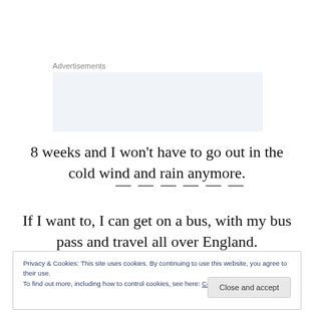Advertisements
[Figure (other): Advertisement banner placeholder box with partial text visible]
8 weeks and I won't have to go out in the cold wind and rain anymore.
If I want to, I can get on a bus, with my bus pass and travel all over England.
Privacy & Cookies: This site uses cookies. By continuing to use this website, you agree to their use.
To find out more, including how to control cookies, see here: Cookie Policy
Close and accept